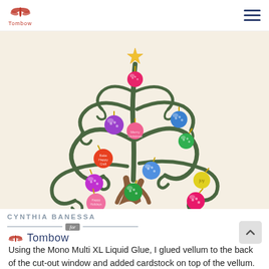Tombow
[Figure (photo): A decorative whimsical Christmas tree made of curling green vine-like branches decorated with colorful glittery ornament balls in pink, blue, purple, green, yellow, and hot pink. The tree has a brown trunk and a gold star at the top, set against a light cream/beige background.]
CYNTHIA BANESSA for Tombow
Using the Mono Multi XL Liquid Glue, I glued vellum to the back of the cut-out window and added cardstock on top of the vellum.